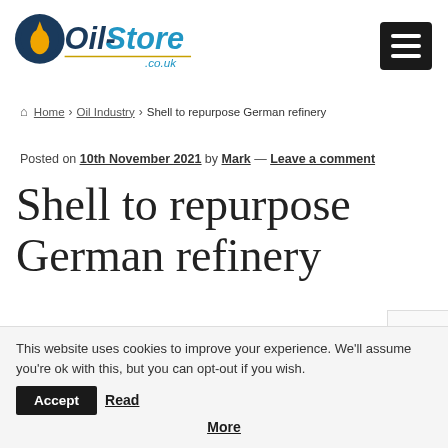[Figure (logo): Oil-Store.co.uk logo with a golden oil drop and dark blue/blue italic text]
[Figure (other): Black hamburger menu button icon with three white horizontal lines]
Home > Oil Industry > Shell to repurpose German refinery
Posted on 10th November 2021 by Mark — Leave a comment
Shell to repurpose German refinery
This website uses cookies to improve your experience. We'll assume you're ok with this, but you can opt-out if you wish. Accept Read More